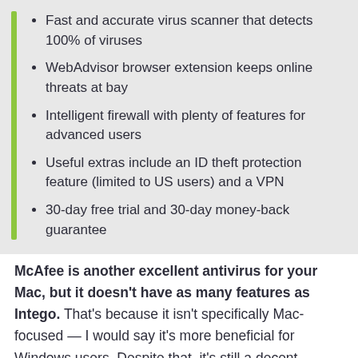Fast and accurate virus scanner that detects 100% of viruses
WebAdvisor browser extension keeps online threats at bay
Intelligent firewall with plenty of features for advanced users
Useful extras include an ID theft protection feature (limited to US users) and a VPN
30-day free trial and 30-day money-back guarantee
McAfee is another excellent antivirus for your Mac, but it doesn't have as many features as Intego. That's because it isn't specifically Mac-focused — I would say it's more beneficial for Windows users. Despite that, it's still a decent